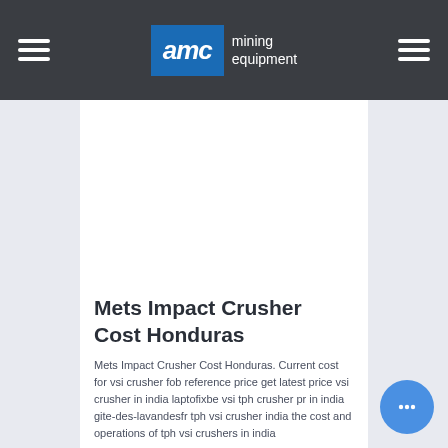AMC mining equipment
Mets Impact Crusher Cost Honduras
Mets Impact Crusher Cost Honduras. Current cost for vsi crusher fob reference price get latest price vsi crusher in india laptofixbe vsi tph crusher pr in india gite-des-lavandesfr tph vsi crusher india the cost and operations of tph vsi crushers in india